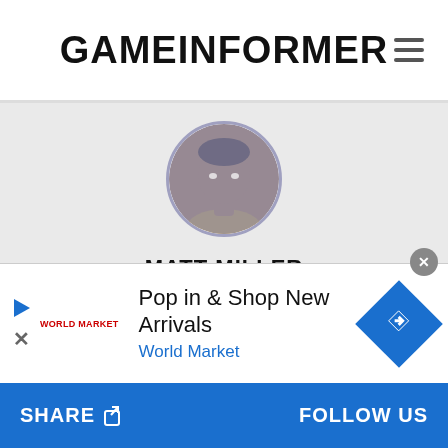GAMEINFORMER
[Figure (photo): Circular avatar photo of Matt Miller with blue/purple color tint overlay]
MATT MILLER
Magazine Content Director
Matt Miller has been with Game Informer since 2004. He has a special interest in the evolution of game design, the tabletop hobby, and the crafting of interactive narrative.
[Figure (infographic): Advertisement banner: Pop in & Shop New Arrivals - World Market, with World Market logo and blue diamond arrow icon]
SHARE   FOLLOW US